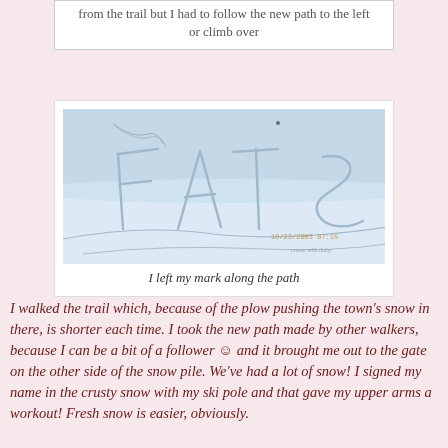from the trail but I had to follow the new path to the left or climb over
[Figure (photo): Snow field with the letters 'FATS' written in the snow by a ski pole, with a timestamp overlay reading '10/23/2003 07:15' and photo credit 'crown with daisy']
I left my mark along the path
I walked the trail which, because of the plow pushing the town's snow in there, is shorter each time. I took the new path made by other walkers, because I can be a bit of a follower ☺ and it brought me out to the gate on the other side of the snow pile. We've had a lot of snow! I signed my name in the crusty snow with my ski pole and that gave my upper arms a workout! Fresh snow is easier, obviously.